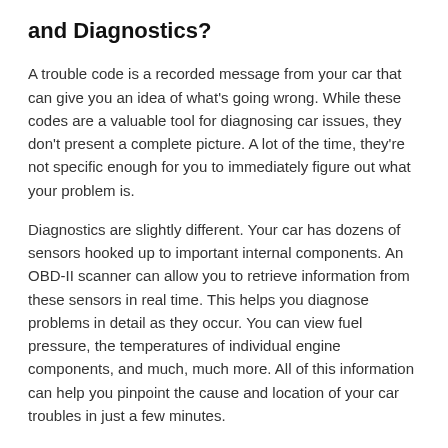and Diagnostics?
A trouble code is a recorded message from your car that can give you an idea of what's going wrong. While these codes are a valuable tool for diagnosing car issues, they don't present a complete picture. A lot of the time, they're not specific enough for you to immediately figure out what your problem is.
Diagnostics are slightly different. Your car has dozens of sensors hooked up to important internal components. An OBD-II scanner can allow you to retrieve information from these sensors in real time. This helps you diagnose problems in detail as they occur. You can view fuel pressure, the temperatures of individual engine components, and much, much more. All of this information can help you pinpoint the cause and location of your car troubles in just a few minutes.
How Far Can You DIY?